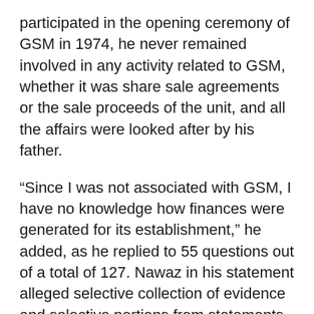participated in the opening ceremony of GSM in 1974, he never remained involved in any activity related to GSM, whether it was share sale agreements or the sale proceeds of the unit, and all the affairs were looked after by his father.
“Since I was not associated with GSM, I have no knowledge how finances were generated for its establishment,” he added, as he replied to 55 questions out of a total of 127. Nawaz in his statement alleged selective collection of evidence and selective portions from statements of witnesses mentioned in the JIT report. He severely criticised the inclusion of Inter-Services Intelligence (ISI) and Military Intelligence (MI) in the Joint